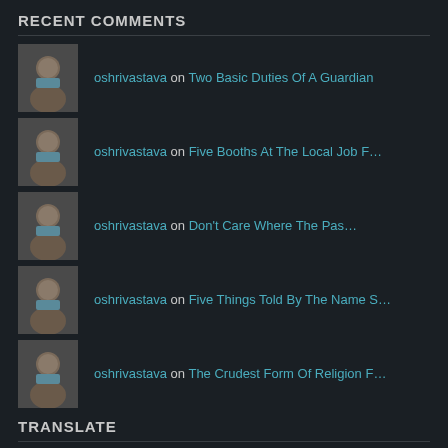RECENT COMMENTS
oshrivastava on Two Basic Duties Of A Guardian
oshrivastava on Five Booths At The Local Job F…
oshrivastava on Don't Care Where The Pas…
oshrivastava on Five Things Told By The Name S…
oshrivastava on The Crudest Form Of Religion F…
TRANSLATE
Translate this blog into different languages...
Albanian Arabic Bulgarian Catalan Chinese Simplified Chinese Traditional Croatian Czech Danish Dan…